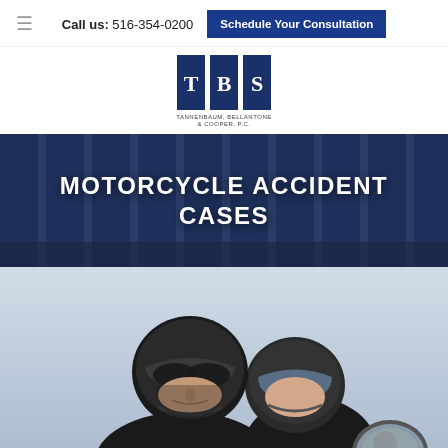Call us: 516-354-0200  Schedule Your Consultation
[Figure (logo): TBS law firm logo — Tannenbaum Bellantone & Cooper P.C. with three dark blue vertical rectangles labeled T, B, S]
MOTORCYCLE ACCIDENT CASES
[Figure (photo): Two motorcycle riders wearing black helmets and dark jackets on a motorcycle, photographed from a low angle against a bright sky]